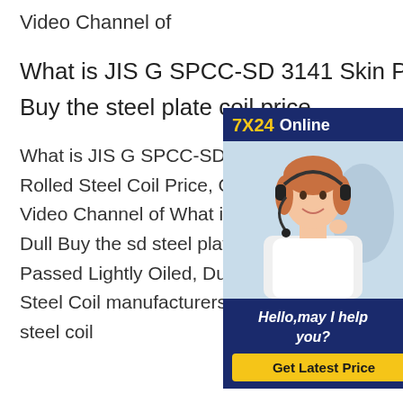Video Channel of
What is JIS G SPCC-SD 3141 Skin Passed Lightly Oiled, Dull Buy the steel plate coil price
What is JIS G SPCC-SD 3141 Skin Passed Lightly Oiled, Dull Finish Cold Rolled Steel Coil Price, Cold Rolled Steel Coil manufacturers suppliers on Video Channel of What is JIS G SPCC-SD 3141 Skin Passed Lightly Oiled, Dull Buy the sd steel plate coil priceWhat is JIS G SPCC-SD 3141 Skin Passed Lightly Oiled, Dull Finish Cold Rolled Steel Coil Price, Cold Rolled Steel Coil manufacturers suppliers on Video Channel of cold rolled aisi 420 steel coil
[Figure (illustration): Customer service widget with a woman wearing a headset, '7X24 Online' header in navy blue with yellow text, and 'Hello, may I help you?' message with a yellow 'Get Latest Price' button.]